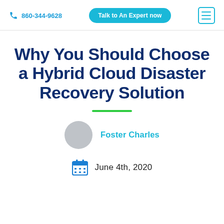860-344-9628  Talk to An Expert now
Why You Should Choose a Hybrid Cloud Disaster Recovery Solution
Foster Charles
June 4th, 2020